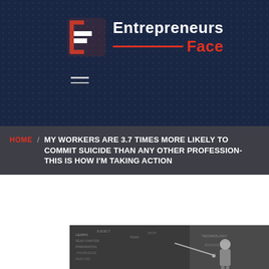[Figure (logo): Entrepreneurs Face logo: red square bracket icon with white E shape, text 'Entrepreneurs' in white and 'Face' in red with horizontal red line]
[Figure (other): Hamburger menu icon (three horizontal lines)]
HOME / MY WORKERS ARE 3.7 TIMES MORE LIKELY TO COMMIT SUICIDE THAN ANY OTHER PROFESSION-THIS IS HOW I'M TAKING ACTION
[Figure (photo): Black and white photo of a female teacher pointing at a chalkboard covered in writing]